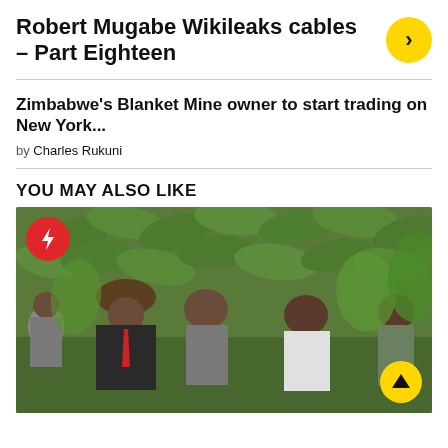Robert Mugabe Wikileaks cables – Part Eighteen
Zimbabwe's Blanket Mine owner to start trading on New York...
by Charles Rukuni
YOU MAY ALSO LIKE
[Figure (photo): Group of people in a cornfield; a man wearing a wide-brimmed hat and dark suit with red tie points at maize plants; other people stand behind him; lightning bolt badge in top-left corner; up arrow button in bottom-right corner]